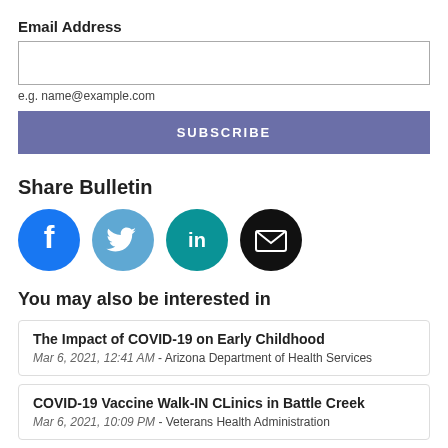Email Address
e.g. name@example.com
SUBSCRIBE
Share Bulletin
[Figure (infographic): Four social media sharing icons: Facebook (blue circle with 'f'), Twitter (light blue circle with bird), LinkedIn (teal circle with 'in'), Email (black circle with envelope)]
You may also be interested in
The Impact of COVID-19 on Early Childhood
Mar 6, 2021, 12:41 AM - Arizona Department of Health Services
COVID-19 Vaccine Walk-IN CLinics in Battle Creek
Mar 6, 2021, 10:09 PM - Veterans Health Administration